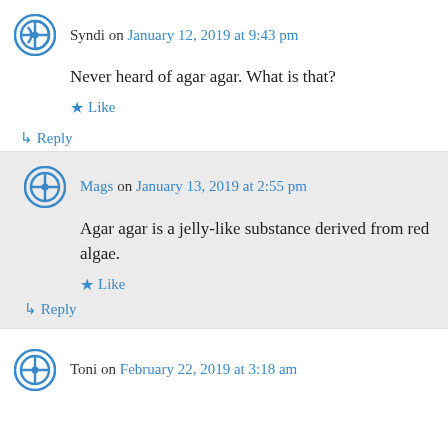Syndi on January 12, 2019 at 9:43 pm
Never heard of agar agar. What is that?
★ Like
↳ Reply
Mags on January 13, 2019 at 2:55 pm
Agar agar is a jelly-like substance derived from red algae.
★ Like
↳ Reply
Toni on February 22, 2019 at 3:18 am